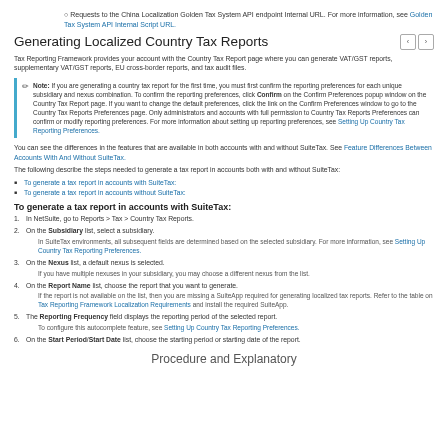Requests to the China Localization Golden Tax System API endpoint Internal URL. For more information, see Golden Tax System API Internal Script URL.
Generating Localized Country Tax Reports
Tax Reporting Framework provides your account with the Country Tax Report page where you can generate VAT/GST reports, supplementary VAT/GST reports, EU cross-border reports, and tax audit files.
Note: If you are generating a country tax report for the first time, you must first confirm the reporting preferences for each unique subsidiary and nexus combination. To confirm the reporting preferences, click Confirm on the Confirm Preferences popup window on the Country Tax Report page. If you want to change the default preferences, click the link on the Confirm Preferences window to go to the Country Tax Reports Preferences page. Only administrators and accounts with full permission to Country Tax Reports Preferences can confirm or modify reporting preferences. For more information about setting up reporting preferences, see Setting Up Country Tax Reporting Preferences.
You can see the differences in the features that are available in both accounts with and without SuiteTax. See Feature Differences Between Accounts With And Without SuiteTax.
The following describe the steps needed to generate a tax report in accounts both with and without SuiteTax:
To generate a tax report in accounts with SuiteTax:
To generate a tax report in accounts without SuiteTax:
To generate a tax report in accounts with SuiteTax:
1. In NetSuite, go to Reports > Tax > Country Tax Reports.
2. On the Subsidiary list, select a subsidiary.
In SuiteTax environments, all subsequent fields are determined based on the selected subsidiary. For more information, see Setting Up Country Tax Reporting Preferences.
3. On the Nexus list, a default nexus is selected.
If you have multiple nexuses in your subsidiary, you may choose a different nexus from the list.
4. On the Report Name list, choose the report that you want to generate.
If the report is not available on the list, then you are missing a SuiteApp required for generating localized tax reports. Refer to the table on Tax Reporting Framework Localization Requirements and install the required SuiteApp.
5. The Reporting Frequency field displays the reporting period of the selected report.
To configure this autocomplete feature, see Setting Up Country Tax Reporting Preferences.
6. On the Start Period/Start Date list, choose the starting period or starting date of the report.
Procedure and Explanatory